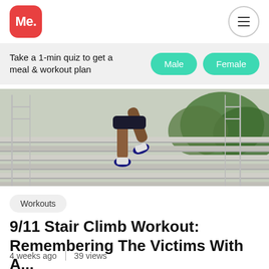Me.
Take a 1-min quiz to get a meal & workout plan
[Figure (photo): Person climbing outdoor stadium stairs wearing sneakers, viewed from behind/side. Green trees in background.]
Workouts
9/11 Stair Climb Workout: Remembering The Victims With A...
4 weeks ago   |   39 views